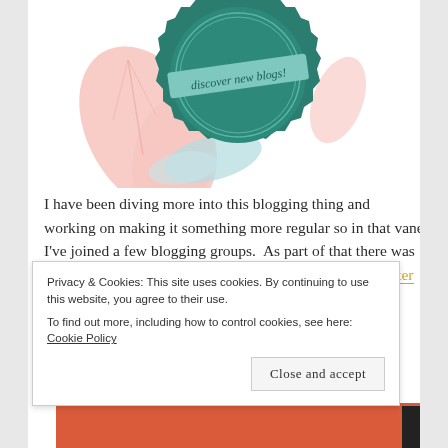[Figure (illustration): Decorative blog award badge illustration: teal/dark green circular badge with zigzag edges, pink leaves, a light blue ribbon banner reading 'discover new blogs!', and floral decorative elements on a white background.]
I have been diving more into this blogging thing and working on making it something more regular so in that vane I've joined a few blogging groups.  As part of that there was a post asking for our links to be nominated for The Liebster Award and I was chosen by Sam Richardson
Privacy & Cookies: This site uses cookies. By continuing to use this website, you agree to their use.
To find out more, including how to control cookies, see here: Cookie Policy
Close and accept